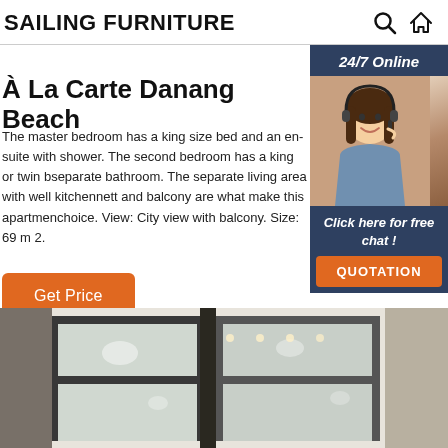SAILING FURNITURE
À La Carte Danang Beach
The master bedroom has a king size bed and an en-suite with shower. The second bedroom has a king or twin bed and a separate bathroom. The separate living area with well kitchennett and balcony are what make this apartment a top choice. View: City view with balcony. Size: 69 m 2.
[Figure (photo): Customer service representative woman with headset, 24/7 Online chat widget with dark blue background and orange QUOTATION button]
[Figure (photo): Interior room photo showing window with dark frames, curtains, and soft lighting]